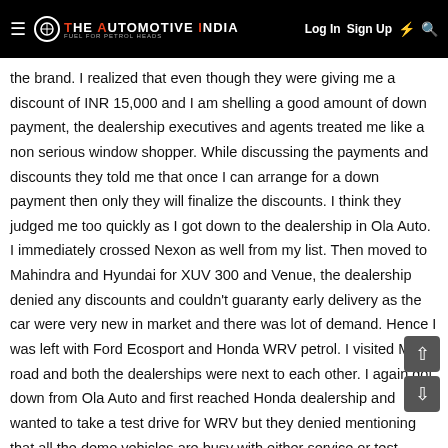THE AUTOMOTIVE INDIA — Log In  Sign Up
the brand. I realized that even though they were giving me a discount of INR 15,000 and I am shelling a good amount of down payment, the dealership executives and agents treated me like a non serious window shopper. While discussing the payments and discounts they told me that once I can arrange for a down payment then only they will finalize the discounts. I think they judged me too quickly as I got down to the dealership in Ola Auto. I immediately crossed Nexon as well from my list. Then moved to Mahindra and Hyundai for XUV 300 and Venue, the dealership denied any discounts and couldn't guaranty early delivery as the car were very new in market and there was lot of demand. Hence I was left with Ford Ecosport and Honda WRV petrol. I visited MG road and both the dealerships were next to each other. I again got down from Ola Auto and first reached Honda dealership and wanted to take a test drive for WRV but they denied mentioning that all the demo vehicles are busy with either service or test drives and I would have to wait until for 2 days day for the test drive. Meanwhile the executive stared pushing me to go for the 2nd top model mentioning the non availability of base model in gray color (maybe they took me for a non potential buyer). I also